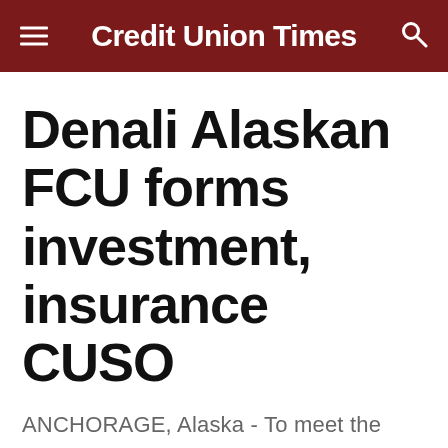Credit Union Times
Denali Alaskan FCU forms investment, insurance CUSO
ANCHORAGE, Alaska - To meet the